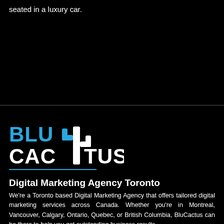seated in a luxury car.
[Figure (logo): BluCactus logo — text 'BLU' in blue and 'CACTUS' in white with a stylized cactus graphic in blue and white]
Digital Marketing Agency Toronto
We're a Toronto based Digital Marketing Agency that offers tailored digital marketing services across Canada. Whether you're in Montreal, Vancouver, Calgary, Ontario, Quebec, or British Columbia, BluCactus can be there to help you get outstanding business results.